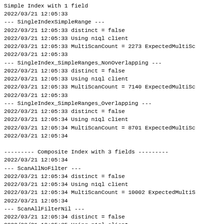Simple Index with 1 field
2022/03/21 12:05:33
--- SingleIndexSimpleRange ---
2022/03/21 12:05:33 distinct = false
2022/03/21 12:05:33 Using n1ql client
2022/03/21 12:05:33 MultiScanCount = 2273 ExpectedMultiSc
2022/03/21 12:05:33
--- SingleIndex_SimpleRanges_NonOverlapping ---
2022/03/21 12:05:33 distinct = false
2022/03/21 12:05:33 Using n1ql client
2022/03/21 12:05:33 MultiScanCount = 7140 ExpectedMultiSc
2022/03/21 12:05:33
--- SingleIndex_SimpleRanges_Overlapping ---
2022/03/21 12:05:33 distinct = false
2022/03/21 12:05:34 Using n1ql client
2022/03/21 12:05:34 MultiScanCount = 8701 ExpectedMultiSc
2022/03/21 12:05:34
--------- Composite Index with 3 fields ---------
2022/03/21 12:05:34
--- ScanAllNoFilter ---
2022/03/21 12:05:34 distinct = false
2022/03/21 12:05:34 Using n1ql client
2022/03/21 12:05:34 MultiScanCount = 10002 ExpectedMultiS
2022/03/21 12:05:34
--- ScanAllFilterNil ---
2022/03/21 12:05:34 distinct = false
2022/03/21 12:05:35 Using n1ql client
2022/03/21 12:05:35 MultiScanCount = 10002 ExpectedMultiS
2022/03/21 12:05:35
--- ScanAll_AllFiltersNil